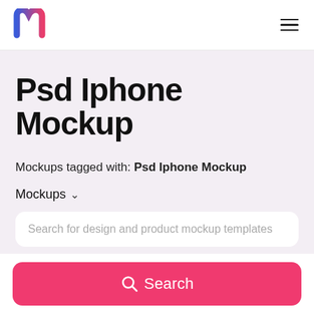m (logo) | hamburger menu
Psd Iphone Mockup
Mockups tagged with: Psd Iphone Mockup
Mockups ∨
Search for design and product mockup templates
Search